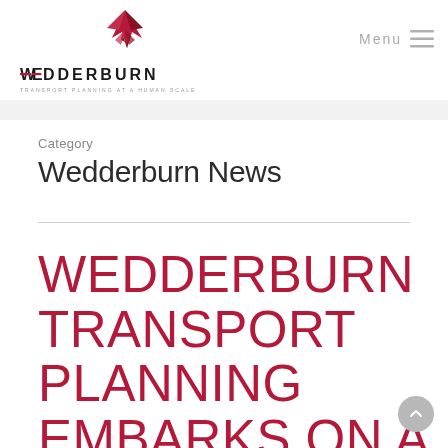[Figure (logo): Wedderburn Transport Planning logo with red geometric bird/arrow mark above stylized company name with horizontal stripes, tagline: TRANSPORT PLANNING AT A HUMAN SCALE]
Menu ≡
Category
Wedderburn News
WEDDERBURN TRANSPORT PLANNING EMBARKS ON A